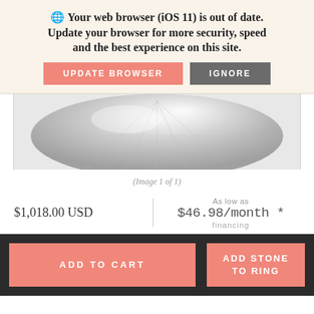🌐 Your web browser (iOS 11) is out of date. Update your browser for more security, speed and the best experience on this site.
UPDATE BROWSER
IGNORE
[Figure (photo): Close-up photo of a faceted diamond gemstone, showing the bottom pavilion facets against a white/grey background.]
(Image 1 of 1)
$1,018.00 USD
As low as $46.98/month * financing
ADD TO CART
ADD STONE TO RING